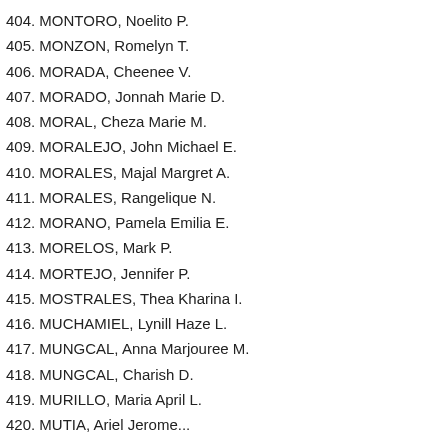404. MONTORO, Noelito P.
405. MONZON, Romelyn T.
406. MORADA, Cheenee V.
407. MORADO, Jonnah Marie D.
408. MORAL, Cheza Marie M.
409. MORALEJO, John Michael E.
410. MORALES, Majal Margret A.
411. MORALES, Rangelique N.
412. MORANO, Pamela Emilia E.
413. MORELOS, Mark P.
414. MORTEJO, Jennifer P.
415. MOSTRALES, Thea Kharina I.
416. MUCHAMIEL, Lynill Haze L.
417. MUNGCAL, Anna Marjouree M.
418. MUNGCAL, Charish D.
419. MURILLO, Maria April L.
420. MUTIA, ...